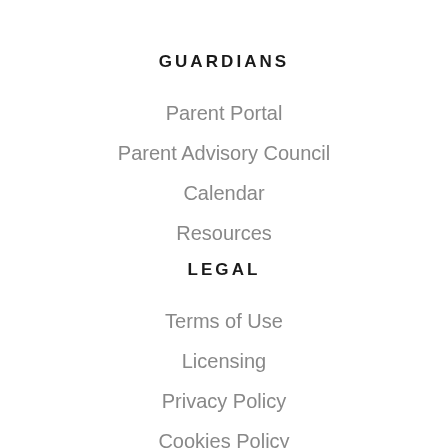GUARDIANS
Parent Portal
Parent Advisory Council
Calendar
Resources
LEGAL
Terms of Use
Licensing
Privacy Policy
Cookies Policy